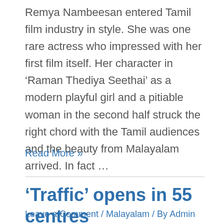Remya Nambeesan entered Tamil film industry in style. She was one rare actress who impressed with her first film itself. Her character in ‘Raman Thediya Seethai’ as a modern playful girl and a pitiable woman in the second half struck the right chord with the Tamil audiences and the beauty from Malayalam arrived. In fact ...
Read More »
‘Traffic’ opens in 55 centres
Leave a Comment / Malayalam / By Admin